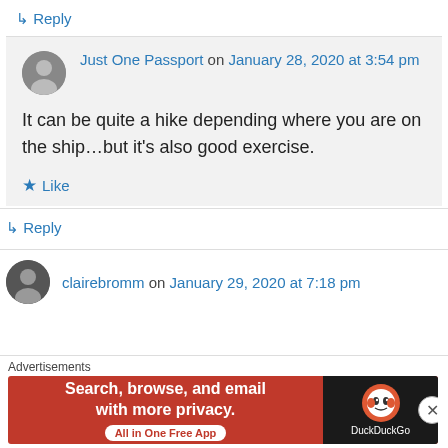↳ Reply
Just One Passport on January 28, 2020 at 3:54 pm
It can be quite a hike depending where you are on the ship…but it's also good exercise.
★ Like
↳ Reply
clairebromm on January 29, 2020 at 7:18 pm
Advertisements
[Figure (infographic): DuckDuckGo advertisement banner: 'Search, browse, and email with more privacy. All in One Free App' with DuckDuckGo logo on dark background]